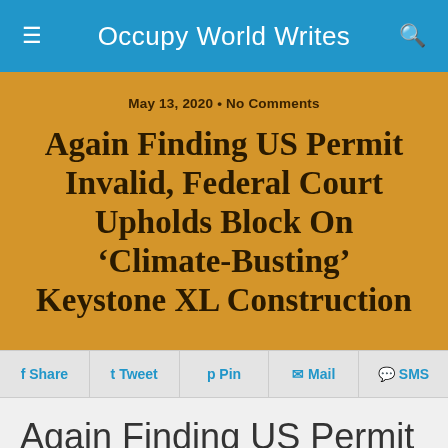Occupy World Writes
May 13, 2020 • No Comments
Again Finding US Permit Invalid, Federal Court Upholds Block On 'Climate-Busting' Keystone XL Construction
Share  Tweet  Pin  Mail  SMS
Again Finding US Permit Invalid, Federal Court Upholds Block on 'Climate-Busting' Keystone XL